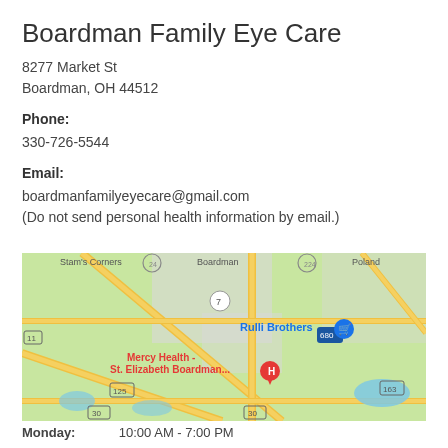Boardman Family Eye Care
8277 Market St
Boardman, OH 44512
Phone:
330-726-5544
Email:
boardmanfamilyeyecare@gmail.com
(Do not send personal health information by email.)
[Figure (map): Google Map screenshot showing the Boardman, OH area with landmarks including Rulli Brothers, Mercy Health - St. Elizabeth Boardman..., and route markers for roads 7, 680, 125, 163, 30.]
Monday:    10:00 AM - 7:00 PM